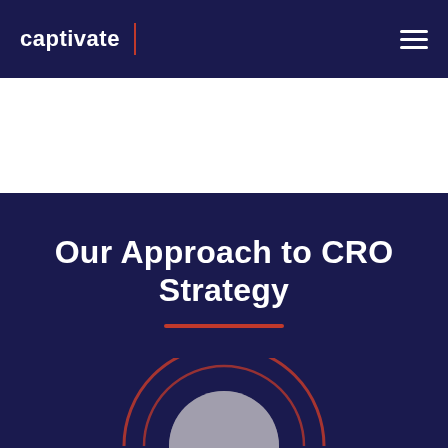captivate
[Figure (illustration): Circular diagram illustration partially visible at the bottom of the dark section, showing concentric arcs in orange/red and a light-colored filled circular element in the center]
Our Approach to CRO Strategy